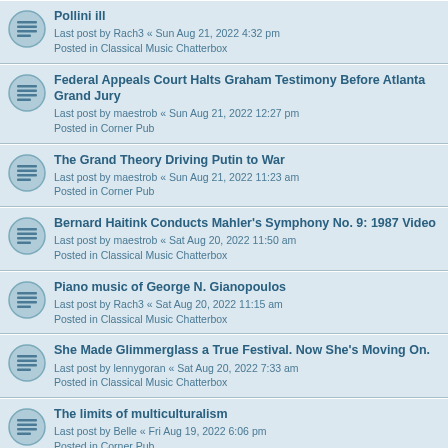Pollini ill
Last post by Rach3 « Sun Aug 21, 2022 4:32 pm
Posted in Classical Music Chatterbox
Federal Appeals Court Halts Graham Testimony Before Atlanta Grand Jury
Last post by maestrob « Sun Aug 21, 2022 12:27 pm
Posted in Corner Pub
The Grand Theory Driving Putin to War
Last post by maestrob « Sun Aug 21, 2022 11:23 am
Posted in Corner Pub
Bernard Haitink Conducts Mahler's Symphony No. 9: 1987 Video
Last post by maestrob « Sat Aug 20, 2022 11:50 am
Posted in Classical Music Chatterbox
Piano music of George N. Gianopoulos
Last post by Rach3 « Sat Aug 20, 2022 11:15 am
Posted in Classical Music Chatterbox
She Made Glimmerglass a True Festival. Now She's Moving On.
Last post by lennygoran « Sat Aug 20, 2022 7:33 am
Posted in Classical Music Chatterbox
The limits of multiculturalism
Last post by Belle « Fri Aug 19, 2022 6:06 pm
Posted in Corner Pub
Challenging the intellectual cartel of Leftism in academe and education
Last post by Belle « Fri Aug 19, 2022 5:54 pm
Posted in Corner Pub
Odesa Is Defiant. It's Also Putin's Ultimate Target.
Last post by maestrob « Fri Aug 19, 2022 9:03 am